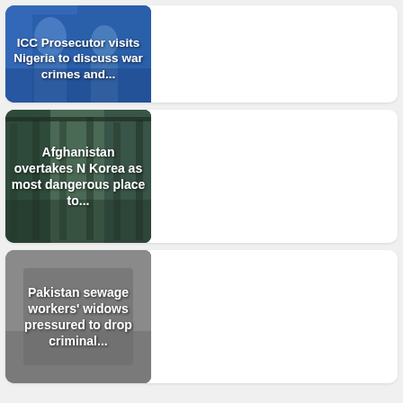[Figure (photo): News card 1: ICC Prosecutor visits Nigeria to discuss war crimes and... — photo of people in background with blue tones]
[Figure (photo): News card 2: Afghanistan overtakes N Korea as most dangerous place to... — photo of fabric/clothing rack with dark green tones]
[Figure (photo): News card 3: Pakistan sewage workers' widows pressured to drop criminal... — grey placeholder background]